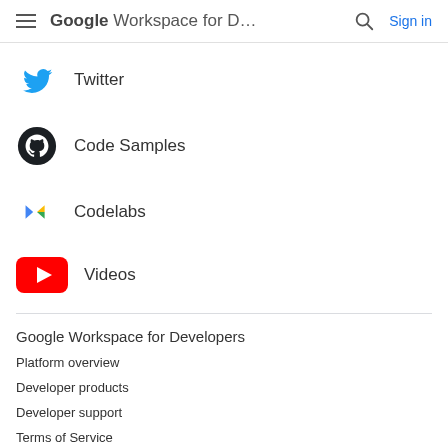Google Workspace for D... Sign in
Twitter
Code Samples
Codelabs
Videos
Google Workspace for Developers
Platform overview
Developer products
Developer support
Terms of Service